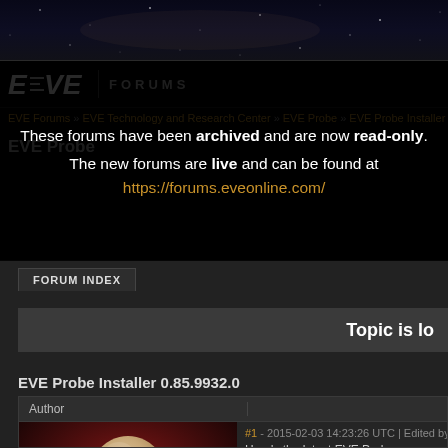EVE FORUMS
These forums have been archived and are now read-only.
The new forums are live and can be found at https://forums.eveonline.com/
EVE Forums » EVE Technology and Research Center » EVE Probe » EVE Probe Installer
EVE Probe
FORUM INDEX
Topic is locked
EVE Probe Installer 0.85.9932.0
| Author |  |
| --- | --- |
| #1 - 2015-02-03 14:23:26 UTC | Edited by |  |
| Here's the latest EVE Probe installer: |  |
| http://files.eveprobe.ccpgames.com/eve |  |
[Figure (photo): Character avatar portrait showing a bald humanoid character with pale skin against a dark red background]